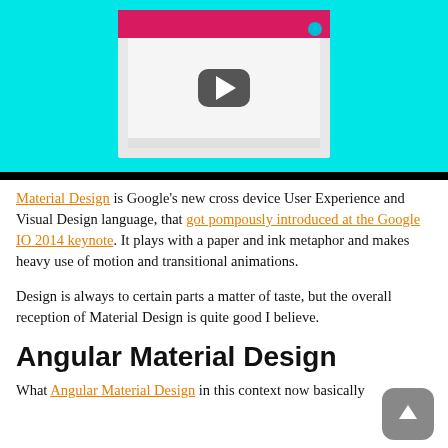[Figure (screenshot): Video thumbnail showing a YouTube-style play button on a light cyan/teal background, with a pink/magenta top bar and a dark play button icon. A small teal dot appears in the upper right of the video card.]
Material Design is Google's new cross device User Experience and Visual Design language, that got pompously introduced at the Google IO 2014 keynote. It plays with a paper and ink metaphor and makes heavy use of motion and transitional animations.
Design is always to certain parts a matter of taste, but the overall reception of Material Design is quite good I believe.
Angular Material Design
What Angular Material Design in this context now basically